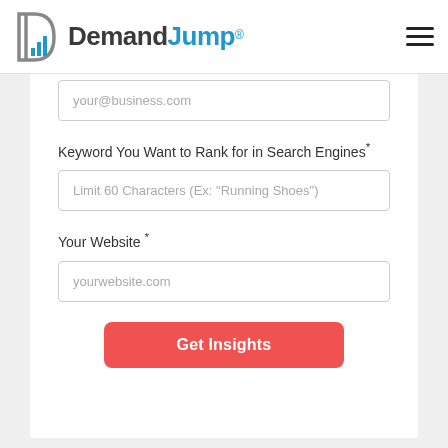[Figure (logo): DemandJump logo with D icon and text in gray and blue]
your@business.com
Keyword You Want to Rank for in Search Engines*
Limit 60 Characters (Ex: "Running Shoes")
Your Website *
yourwebsite.com
Get Insights